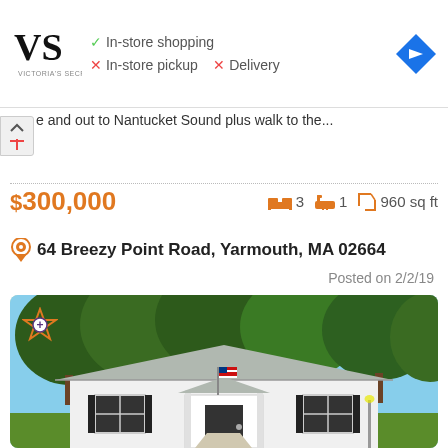[Figure (screenshot): Victoria's Secret store info ad banner showing in-store shopping checkmark, in-store pickup X, Delivery X, with brand logo and navigation arrow icon]
e and out to Nantucket Sound plus walk to the...
$300,000  🛏3  🛁1  ↕ 960 sq ft
📍 64 Breezy Point Road, Yarmouth, MA 02664
Posted on 2/2/19
[Figure (photo): Exterior photo of a small white ranch-style house with gray roof, black shutters, American flag on front porch, surrounded by large trees under blue sky]